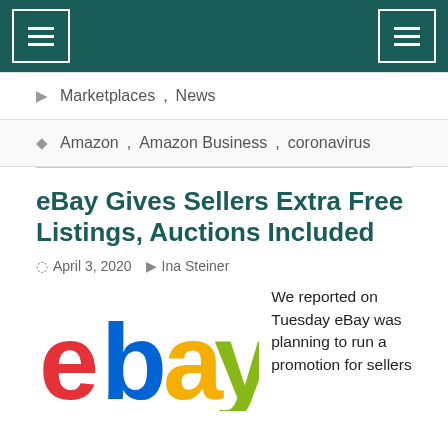[Navigation menu bar with hamburger icons]
Marketplaces, News
Amazon, Amazon Business, coronavirus
eBay Gives Sellers Extra Free Listings, Auctions Included
April 3, 2020  Ina Steiner
[Figure (logo): eBay logo in red, blue, yellow, and green lettering]
We reported on Tuesday eBay was planning to run a promotion for sellers